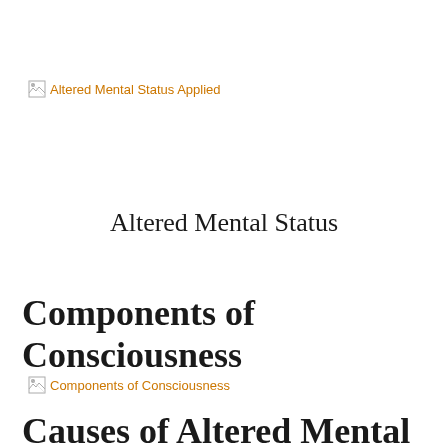[Figure (other): Broken image link labeled 'Altered Mental Status Applied']
Altered Mental Status
Components of Consciousness
[Figure (other): Broken image link labeled 'Components of Consciousness']
Causes of Altered Mental Status